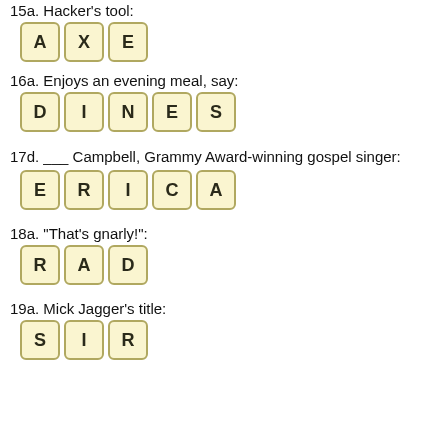15a. Hacker's tool:
[Figure (other): Crossword answer tiles spelling AXE]
16a. Enjoys an evening meal, say:
[Figure (other): Crossword answer tiles spelling DINES]
17d. ___ Campbell, Grammy Award-winning gospel singer:
[Figure (other): Crossword answer tiles spelling ERICA]
18a. "That's gnarly!":
[Figure (other): Crossword answer tiles spelling RAD]
19a. Mick Jagger's title:
[Figure (other): Crossword answer tiles spelling SIR]